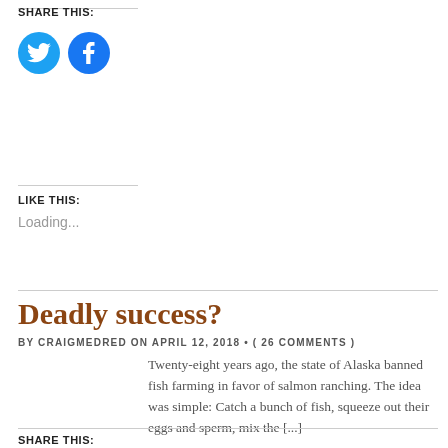SHARE THIS:
[Figure (other): Twitter and Facebook social share icon buttons (blue circles with bird and f logos)]
LIKE THIS:
Loading...
Deadly success?
BY CRAIGMEDRED ON APRIL 12, 2018 • ( 26 COMMENTS )
Twenty-eight years ago, the state of Alaska banned fish farming in favor of salmon ranching. The idea was simple: Catch a bunch of fish, squeeze out their eggs and sperm, mix the [...]
SHARE THIS: